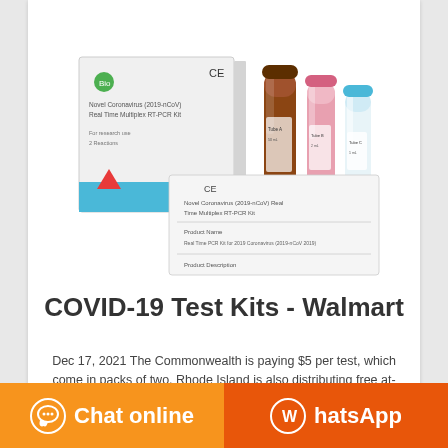[Figure (photo): COVID-19 RT-PCR test kit box with test tubes (brown, pink, and blue capped vials) and a product instruction sheet showing 'Novel Coronavirus (2019-nCoV) Real Time Multiplex RT-PCR Kit']
COVID-19 Test Kits - Walmart
Dec 17, 2021 The Commonwealth is paying $5 per test, which come in packs of two. Rhode Island is also distributing free at-home rapid COVID-19 tests over the next two ... weeks. Gov. Dan McKee announced on Monday
Chat online
WhatsApp